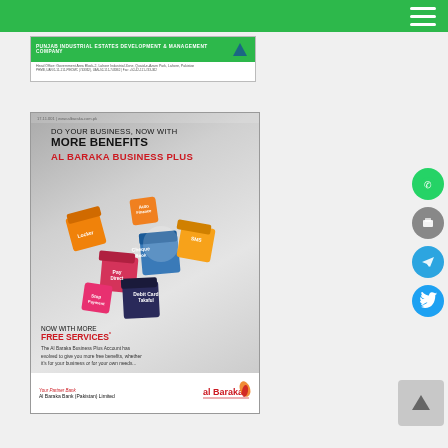[Figure (illustration): Green top navigation bar with hamburger menu icon on right]
[Figure (illustration): Punjab Industrial Estates Development & Management Company banner advertisement]
[Figure (illustration): Al Baraka Business Plus bank advertisement showing colorful 3D cubes with service labels. Text: DO YOUR BUSINESS, NOW WITH MORE BENEFITS AL BARAKA BUSINESS PLUS. NOW WITH MORE FREE SERVICES. The Al Baraka Business Plus Account has evolved to give you more free benefits, whether it's for your business or for your own needs. Your Partner Bank. Al Baraka Bank (Pakistan) Limited.]
[Figure (illustration): Right sidebar social media icons: WhatsApp (green), Print (gray), Telegram (blue), Twitter (blue)]
[Figure (illustration): Gray scroll-to-top button with upward arrow]